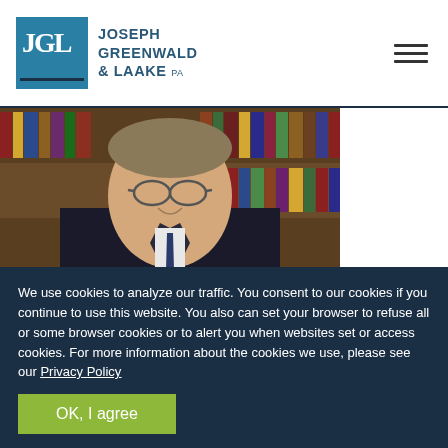[Figure (logo): Joseph Greenwald & Laake PA law firm logo with JGL monogram in blue box and firm name text]
[Figure (photo): Professional headshot of Brian J. Markovitz, attorney, in dark suit with tie, standing in front of law library bookshelves]
Brian J. Markovitz
We use cookies to analyze our traffic. You consent to our cookies if you continue to use this website. You also can set your browser to refuse all or some browser cookies or to alert you when websites set or access cookies. For more information about the cookies we use, please see our Privacy Policy
OK, I agree